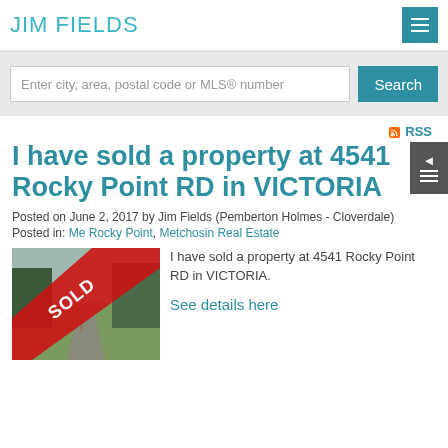JIM FIELDS
Enter city, area, postal code or MLS® number
RSS
I have sold a property at 4541 Rocky Point RD in VICTORIA
Posted on June 2, 2017 by Jim Fields (Pemberton Holmes - Cloverdale)
Posted in: Me Rocky Point, Metchosin Real Estate
[Figure (photo): Property photo with SOLD banner overlay showing a rural road and trees]
I have sold a property at 4541 Rocky Point RD in VICTORIA.
See details here